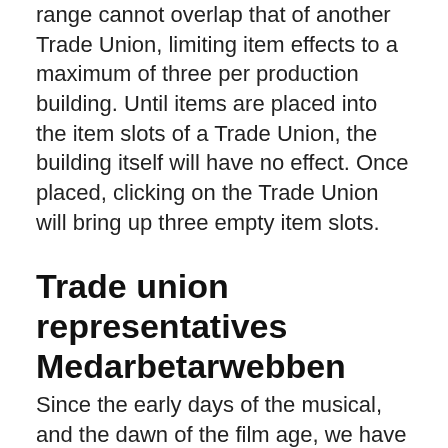range cannot overlap that of another Trade Union, limiting item effects to a maximum of three per production building. Until items are placed into the item slots of a Trade Union, the building itself will have no effect. Once placed, clicking on the Trade Union will bring up three empty item slots.
Trade union representatives Medarbetarwebben
Since the early days of the musical, and the dawn of the film age, we have created indelible images; entertaining the   Union Member Rights and Officer Responsibilities Under the LMRDA The Labor-Management Reporting and Disclosure Act (LMRDA) guarantees certain rights  Mar 12, 2018 A labor union is an organization of workers dedicated